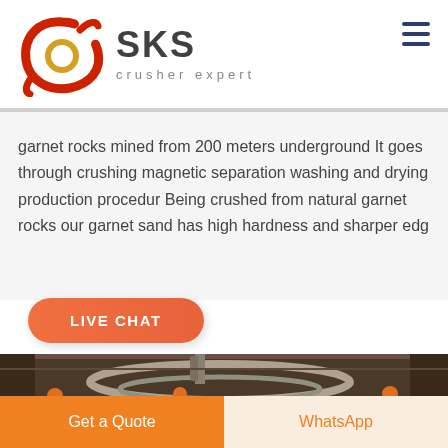[Figure (logo): SKS Crusher Expert logo with stylized red/orange circular brushstroke icon and bold gray SKS text with 'crusher expert' subtitle]
garnet rocks mined from 200 meters underground It goes through crushing magnetic separation washing and drying production procedur Being crushed from natural garnet rocks our garnet sand has high hardness and sharper edg
[Figure (other): Live Chat button - orange rounded pill button with white bold text 'LIVE CHAT']
[Figure (photo): Industrial crusher machinery photo showing large metal ring/bowl component with workers in orange hard hats in a factory/workshop setting]